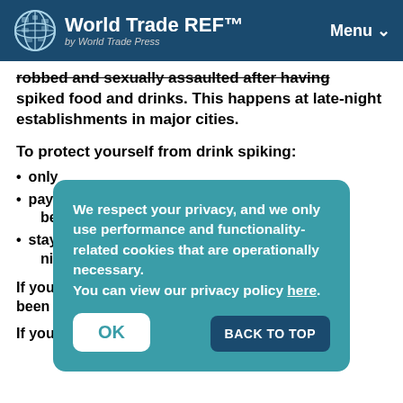World Trade REF™ | Menu
robbed and sexually assaulted after having spiked food and drinks. This happens at late-night establishments in major cities.
To protect yourself from drink spiking:
only …
pay … drinks are being …
stay … at night …
If you … has been s…
If you're a victim of a violent crime, especially …
[Figure (screenshot): Cookie consent overlay on teal background with OK button and BACK TO TOP button. Text reads: We respect your privacy, and we only use performance and functionality-related cookies that are operationally necessary. You can view our privacy policy here.]